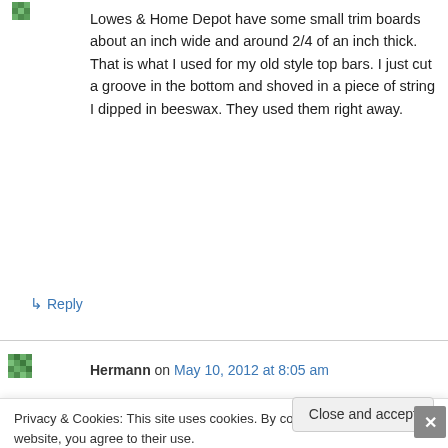[Figure (illustration): Green pixel/mosaic avatar icon, top left]
Lowes & Home Depot have some small trim boards about an inch wide and around 2/4 of an inch thick. That is what I used for my old style top bars. I just cut a groove in the bottom and shoved in a piece of string I dipped in beeswax. They used them right away.
↳ Reply
[Figure (illustration): Green pixel/mosaic avatar icon, second comment]
Hermann on May 10, 2012 at 8:05 am
Privacy & Cookies: This site uses cookies. By continuing to use this website, you agree to their use.
To find out more, including how to control cookies, see here: Cookie Policy
Close and accept